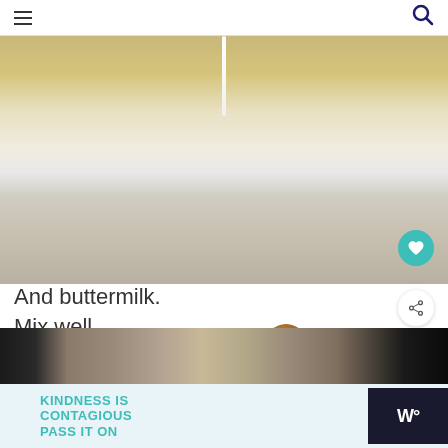[Figure (photo): Close-up photo of a mixing bowl with flour/batter mixture and buttermilk being poured in from above]
And buttermilk.
Mix well.
[Figure (photo): Thumbnail image of banana bread next to WHAT'S NEXT label]
[Figure (photo): Partial bottom image of food/baking scene]
KINDNESS IS CONTAGIOUS PASS IT ON